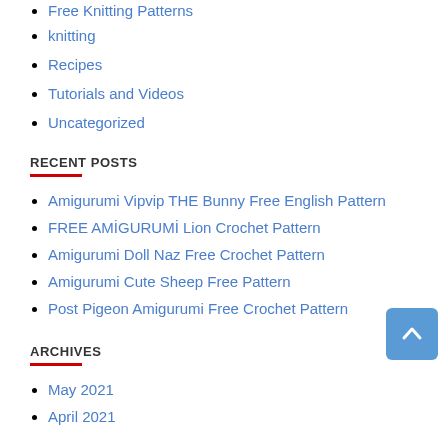Free Knitting Patterns
knitting
Recipes
Tutorials and Videos
Uncategorized
RECENT POSTS
Amigurumi Vipvip THE Bunny Free English Pattern
FREE AMİGURUMİ Lion Crochet Pattern
Amigurumi Doll Naz Free Crochet Pattern
Amigurumi Cute Sheep Free Pattern
Post Pigeon Amigurumi Free Crochet Pattern
ARCHIVES
May 2021
April 2021